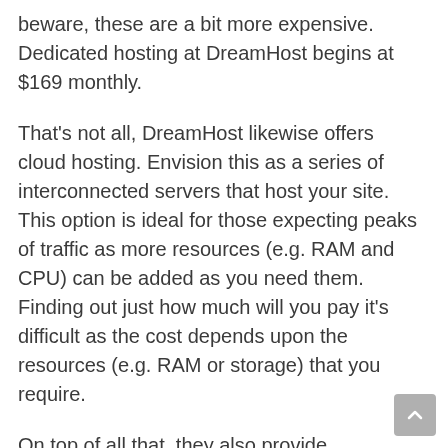beware, these are a bit more expensive. Dedicated hosting at DreamHost begins at $169 monthly.
That's not all, DreamHost likewise offers cloud hosting. Envision this as a series of interconnected servers that host your site. This option is ideal for those expecting peaks of traffic as more resources (e.g. RAM and CPU) can be added as you need them. Finding out just how much will you pay it's difficult as the cost depends upon the resources (e.g. RAM or storage) that you require.
On top of all that, they also provide WordPress hosting strategies– they have special WordPress packages for their shared and VPS hosting. If you 'd like automated updates, staging areas and dedicated WordPress assistance, you can opt-in for a Managed WordPress account. Shared WordPres...